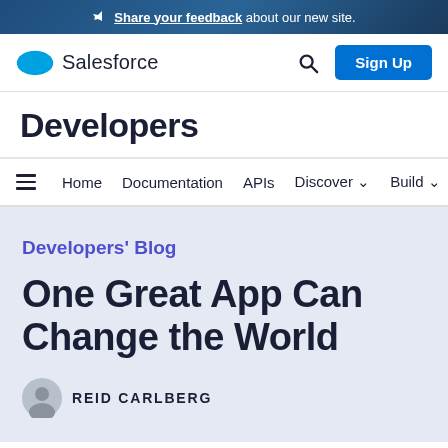📢 Share your feedback about our new site.
[Figure (logo): Salesforce cloud logo with navigation header including Search and Sign Up button]
Developers
Home  Documentation  APIs  Discover  Build  C
Developers' Blog
One Great App Can Change the World
REID CARLBERG